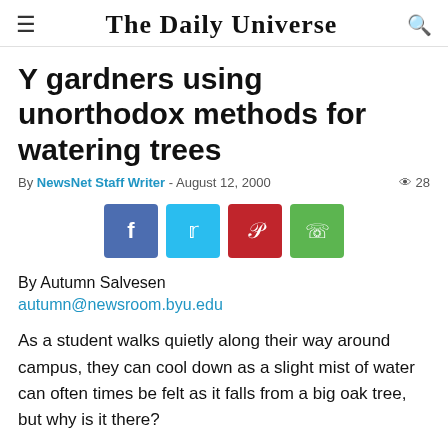The Daily Universe
Y gardners using unorthodox methods for watering trees
By NewsNet Staff Writer - August 12, 2000  28
[Figure (other): Social sharing buttons: Facebook, Twitter, Pinterest, WhatsApp]
By Autumn Salvesen
autumn@newsroom.byu.edu
As a student walks quietly along their way around campus, they can cool down as a slight mist of water can often times be felt as it falls from a big oak tree, but why is it there?